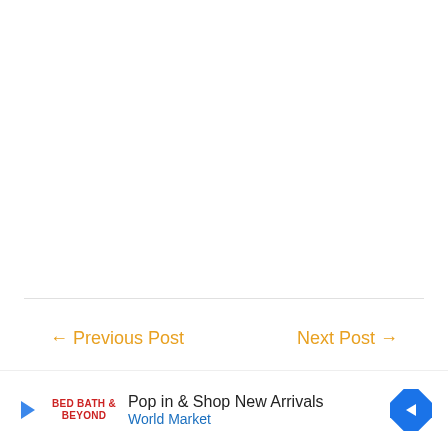← Previous Post
Next Post →
Search
[Figure (other): Advertisement banner: Play icon, Bed Bath & Beyond logo, text 'Pop in & Shop New Arrivals / World Market', navigation arrow icon]